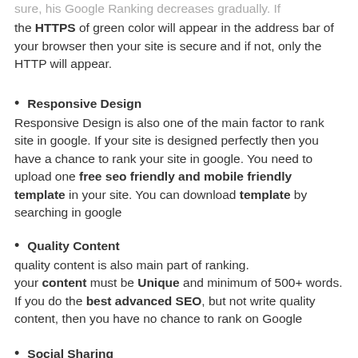sure, his Google Ranking decreases gradually. If the HTTPS of green color will appear in the address bar of your browser then your site is secure and if not, only the HTTP will appear.
Responsive Design
Responsive Design is also one of the main factor to rank site in google. If your site is designed perfectly then you have a chance to rank your site in google. You need to upload one free seo friendly and mobile friendly template in your site. You can download template by searching in google
Quality Content
quality content is also main part of ranking.
your content must be Unique and minimum of 500+ words. If you do the best advanced SEO, but not write quality content, then you have no chance to rank on Google
Social Sharing